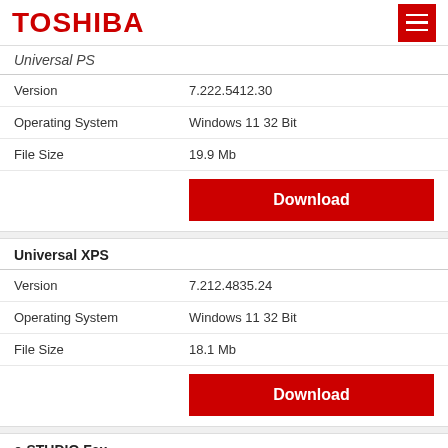TOSHIBA
Universal PS
| Field | Value |
| --- | --- |
| Version | 7.222.5412.30 |
| Operating System | Windows 11 32 Bit |
| File Size | 19.9 Mb |
Download
Universal XPS
| Field | Value |
| --- | --- |
| Version | 7.212.4835.24 |
| Operating System | Windows 11 32 Bit |
| File Size | 18.1 Mb |
Download
e-STUDIO Fax
Version